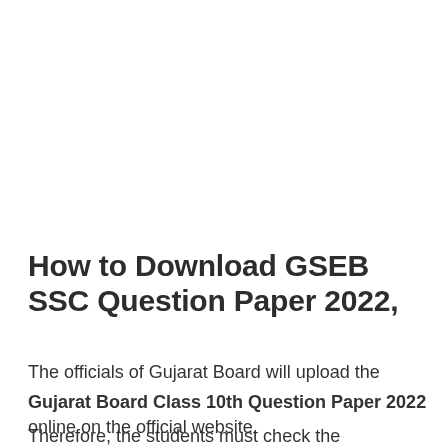How to Download GSEB SSC Question Paper 2022,
The officials of Gujarat Board will upload the
Gujarat Board Class 10th Question Paper 2022 online on the official website.
Therefore, the students must check the